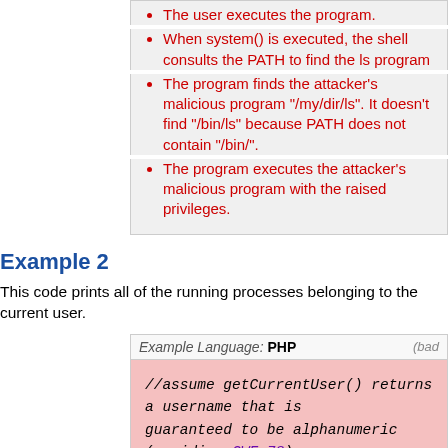The user executes the program.
When system() is executed, the shell consults the PATH to find the ls program
The program finds the attacker's malicious program "/my/dir/ls". It doesn't find "/bin/ls" because PATH does not contain "/bin/".
The program executes the attacker's malicious program with the raised privileges.
Example 2
This code prints all of the running processes belonging to the current user.
[Figure (screenshot): Code box with header 'Example Language: PHP (bad)' and pink background containing PHP code snippet with italic monospace font. Code: //assume getCurrentUser() returns a username that is guaranteed to be alphanumeric (avoiding CWE-78) $userName = getCurrentUser(); $command = 'ps aux | grep ' . $userName; system($command);]
If invoked by an unauthorized web user, it is providing a web of potentially sensitive information on the underlying system as command-line arguments (CWE-497). This program is